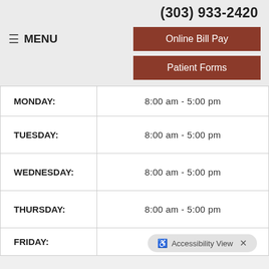(303) 933-2420
≡ MENU
Online Bill Pay
Patient Forms
| Day | Hours |
| --- | --- |
| MONDAY: | 8:00 am  -  5:00 pm |
| TUESDAY: | 8:00 am  -  5:00 pm |
| WEDNESDAY: | 8:00 am  -  5:00 pm |
| THURSDAY: | 8:00 am  -  5:00 pm |
| FRIDAY: | Closed |
♿ Accessibility View ×